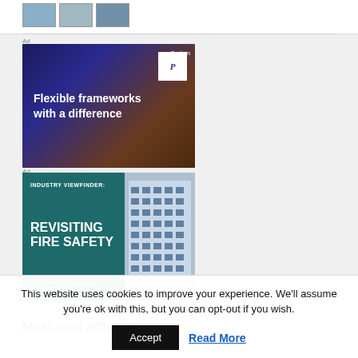[Figure (screenshot): Thumbnail images row at top of page]
[Figure (illustration): Pretium advertisement: 'Flexible frameworks with a difference' on dark blue/brown gradient background with Pretium logo]
[Figure (illustration): Industry Viewfinder: Revisiting Fire Safety advertisement with building photo and 'Click here to request your free copy' call to action]
Most read articles
This website uses cookies to improve your experience. We'll assume you're ok with this, but you can opt-out if you wish.
Accept
Read More